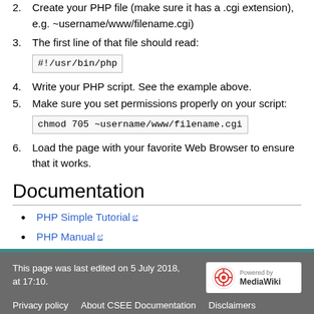2. Create your PHP file (make sure it has a .cgi extension), e.g. ~username/www/filename.cgi)
3. The first line of that file should read: #!/usr/bin/php
4. Write your PHP script. See the example above.
5. Make sure you set permissions properly on your script: chmod 705 ~username/www/filename.cgi
6. Load the page with your favorite Web Browser to ensure that it works.
Documentation
PHP Simple Tutorial
PHP Manual
This page was last edited on 5 July 2018, at 17:10.
Privacy policy   About CSEE Documentation   Disclaimers